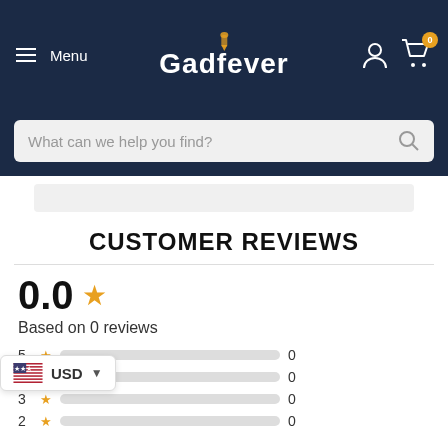Menu | Gadfever | Cart (0)
What can we help you find?
CUSTOMER REVIEWS
0.0 ★
Based on 0 reviews
[Figure (infographic): Star rating bars showing 5-star through 3-star rows, each with a gray empty bar and count of 0. A currency selector overlay shows USD with US flag.]